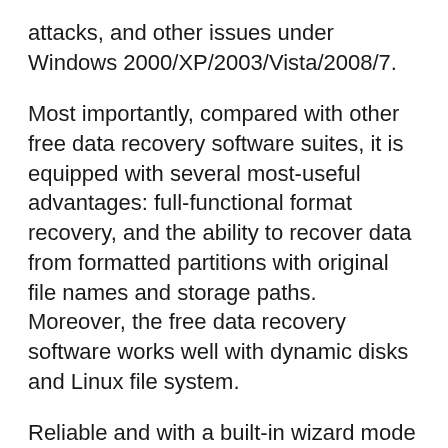attacks, and other issues under Windows 2000/XP/2003/Vista/2008/7.
Most importantly, compared with other free data recovery software suites, it is equipped with several most-useful advantages: full-functional format recovery, and the ability to recover data from formatted partitions with original file names and storage paths. Moreover, the free data recovery software works well with dynamic disks and Linux file system.
Reliable and with a built-in wizard mode EASEUS Data Recovery Wizard Free Edition is an easy-to-use data recovery freeware app for everyone.